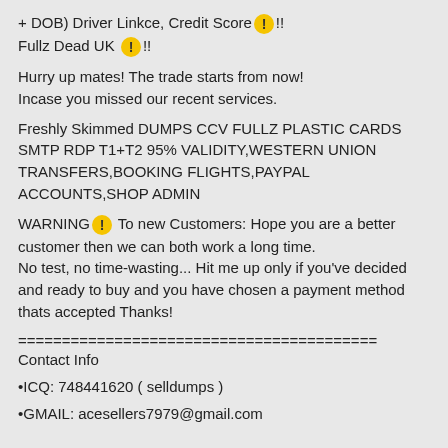+ DOB) Driver Linkce, Credit Score⚠️!! Fullz Dead UK ⚠️!!
Hurry up mates! The trade starts from now!
Incase you missed our recent services.
Freshly Skimmed DUMPS CCV FULLZ PLASTIC CARDS SMTP RDP T1+T2 95% VALIDITY,WESTERN UNION TRANSFERS,BOOKING FLIGHTS,PAYPAL ACCOUNTS,SHOP ADMIN
WARNING⚠️ To new Customers: Hope you are a better customer then we can both work a long time.
No test, no time-wasting... Hit me up only if you've decided and ready to buy and you have chosen a payment method thats accepted Thanks!
=========================================
Contact Info
•ICQ: 748441620 ( selldumps )
•GMAIL: acesellers7979@gmail.com